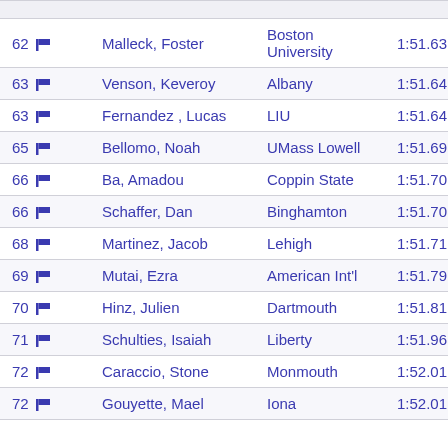| Rank | Name | School | Time |
| --- | --- | --- | --- |
| 62 | Malleck, Foster | Boston University | 1:51.63 |
| 63 | Venson, Keveroy | Albany | 1:51.64 |
| 63 | Fernandez , Lucas | LIU | 1:51.64 |
| 65 | Bellomo, Noah | UMass Lowell | 1:51.69 |
| 66 | Ba, Amadou | Coppin State | 1:51.70 |
| 66 | Schaffer, Dan | Binghamton | 1:51.70 # |
| 68 | Martinez, Jacob | Lehigh | 1:51.71 # |
| 69 | Mutai, Ezra | American Int'l | 1:51.79 # |
| 70 | Hinz, Julien | Dartmouth | 1:51.81 |
| 71 | Schulties, Isaiah | Liberty | 1:51.96 |
| 72 | Caraccio, Stone | Monmouth | 1:52.01 |
| 72 | Gouyette, Mael | Iona | 1:52.01 |